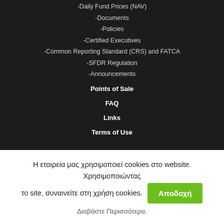-Daily Fund Prices (NAV)
-Documents
-Policies
-Certified Executives
-Common Reporting Standard (CRS) and FATCA
-SFDR Regulation
-Announcements
Points of Sale
FAQ
Links
Terms of Use
Η εταιρεία μας χρησιμοποιεί cookies στο website. Χρησιμοποιώντας το site, συναινείτε στη χρήση cookies.
Αποδοχή
Διαβάστε Περισσότερα.